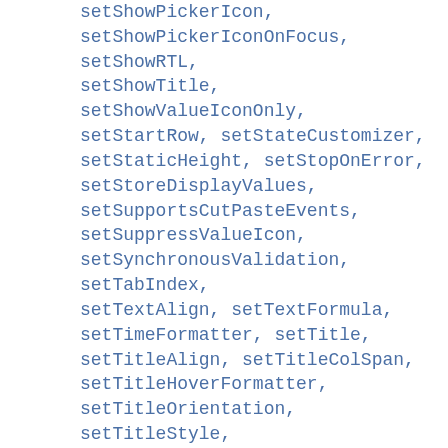setShowPickerIcon, setShowPickerIconOnFocus, setShowRTL, setShowTitle, setShowValueIconOnly, setStartRow, setStateCustomizer, setStaticHeight, setStopOnError, setStoreDisplayValues, setSupportsCutPasteEvents, setSuppressValueIcon, setSynchronousValidation, setTabIndex, setTextAlign, setTextFormula, setTimeFormatter, setTitle, setTitleAlign, setTitleColSpan, setTitleHoverFormatter, setTitleOrientation, setTitleStyle, setTitleVAlign, setTooltip, setTop, setType, setUpdateControlOnOver, setUpdatePickerIconOnOver, setUpdateTextBoxOnOver, setUseAdvancedCriteria, setUseDisabledHintStyleForReadOnly,